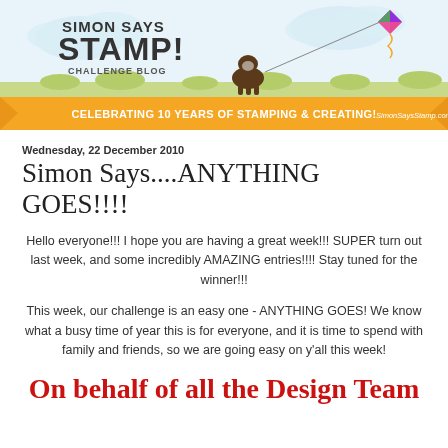[Figure (illustration): Simon Says Stamp Challenge Blog banner with dog, kite, clouds, grass, and orange ribbon saying CELEBRATING 10 YEARS OF STAMPING & CREATING! SimonSaysStamp.com]
Wednesday, 22 December 2010
Simon Says....ANYTHING GOES!!!!
Hello everyone!!! I hope you are having a great week!!! SUPER turn out last week, and some incredibly AMAZING entries!!!! Stay tuned for the winner!!!
This week, our challenge is an easy one - ANYTHING GOES! We know what a busy time of year this is for everyone, and it is time to spend with family and friends, so we are going easy on y'all this week!
On behalf of all the Design Team